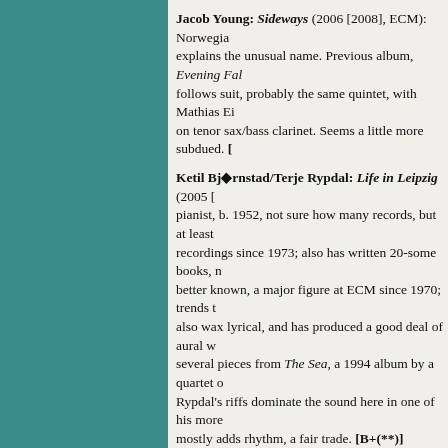Jacob Young: Sideways (2006 [2008], ECM): Norwegian... explains the unusual name. Previous album, Evening Fal... follows suit, probably the same quintet, with Mathias Ei... on tenor sax/bass clarinet. Seems a little more subdued. [...]
Ketil Bjørnstad/Terje Rypdal: Life in Leipzig (2005 [...] pianist, b. 1952, not sure how many records, but at least ... recordings since 1973; also has written 20-some books, m... better known, a major figure at ECM since 1970; trends ... also wax lyrical, and has produced a good deal of aural w... several pieces from The Sea, a 1994 album by a quartet ... Rypdal's riffs dominate the sound here in one of his more... mostly adds rhythm, a fair trade. [B+(**)]
Jon Balke: Book of Velocities (2006 [2008], ECM): Nor... albums on ECM and Emarcy with groups Oslo 13, Magr... Batagraf. This one is solo piano, 19 pieces organized int... Played this several times and haven't connected with it y... sonically, and the spacing and ordering can be interesting...
Marilyn Mazur/Jan Garbarek: Elixir (2005 [2008], EC... Mazur's name above title in white, with Garbarek's below... more pecking order than my credit suggests. I'm not fam... I was under the impression that she's a vocalist, but there... agree that she is primarily a percussionist, with other cre...